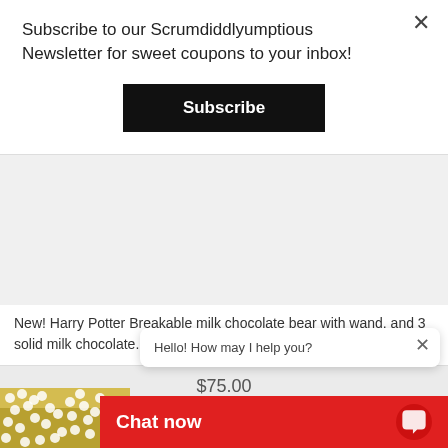Subscribe to our Scrumdiddlyumptious Newsletter for sweet coupons to your inbox!
Subscribe
New! Harry Potter Breakable milk chocolate bear with wand, and 3 solid milk chocolate...
$75.00
SELECT OPTIONS
[Figure (photo): Yellow chocolate-covered treat decorated with white pearl sprinkles]
Hello! How may I help you?
Chat now